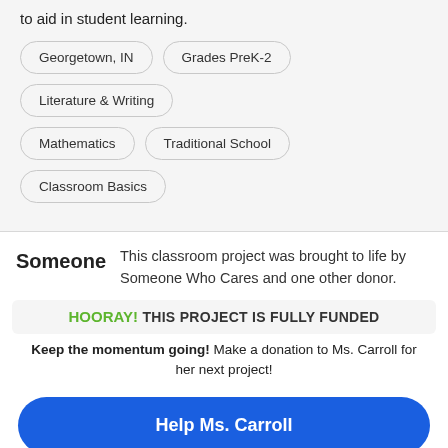to aid in student learning.
Georgetown, IN
Grades PreK-2
Literature & Writing
Mathematics
Traditional School
Classroom Basics
This classroom project was brought to life by Someone Who Cares and one other donor.
Someone
HOORAY! THIS PROJECT IS FULLY FUNDED
Keep the momentum going! Make a donation to Ms. Carroll for her next project!
Help Ms. Carroll